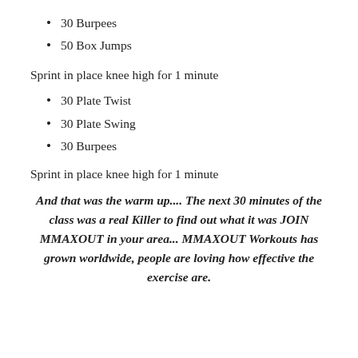30 Burpees
50 Box Jumps
Sprint in place knee high for 1 minute
30 Plate Twist
30 Plate Swing
30 Burpees
Sprint in place knee high for 1 minute
And that was the warm up.... The next 30 minutes of the class was a real Killer to find out what it was JOIN MMAXOUT in your area... MMAXOUT Workouts has grown worldwide, people are loving how effective the exercise are.